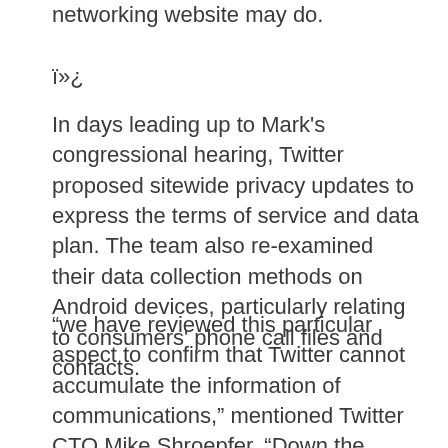networking website may do.
ï»¿
In days leading up to Mark's congressional hearing, Twitter proposed sitewide privacy updates to express the terms of service and data plan. The team also re-examined their data collection methods on Android devices, particularly relating to consumers' phone call files and contacts.
“we have reviewed this particular aspect to confirm that Twitter cannot accumulate the information of communications,” mentioned Twitter CTO Mike Shroepfer. “Down the road, the customer will only upload to the hosts the content had a need to provide this particular feature.”